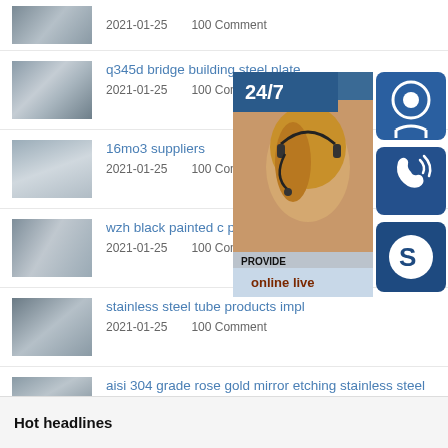2021-01-25   100 Comment
q345d bridge building steel plate
2021-01-25   100 Comment
16mo3 suppliers
2021-01-25   100 Comment
wzh black painted c purlin chann
2021-01-25   100 Comment
stainless steel tube products impl
2021-01-25   100 Comment
aisi 304 grade rose gold mirror etching stainless steel wall
2021-01-25   100 Comment
[Figure (infographic): Customer service widget overlay showing 24/7 support banner, a customer service representative photo with headset, and three icon buttons: headset/support icon, phone icon, and Skype icon, with 'online live' bar at bottom]
Hot headlines